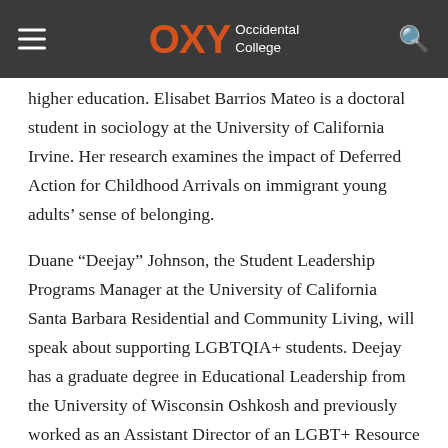OXY Occidental College
higher education. Elisabet Barrios Mateo is a doctoral student in sociology at the University of California Irvine. Her research examines the impact of Deferred Action for Childhood Arrivals on immigrant young adults' sense of belonging.
Duane “Deejay” Johnson, the Student Leadership Programs Manager at the University of California Santa Barbara Residential and Community Living, will speak about supporting LGBTQIA+ students. Deejay has a graduate degree in Educational Leadership from the University of Wisconsin Oshkosh and previously worked as an Assistant Director of an LGBT+ Resource Center at the University of Wisconsin Milwaukee.